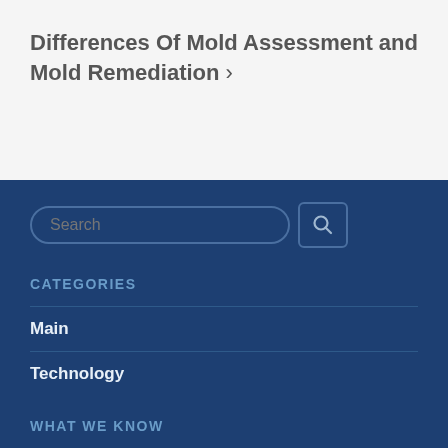Differences Of Mold Assessment and Mold Remediation >
CATEGORIES
Main
Technology
WHAT WE KNOW
5 Key Points In Selecting A Lawn Sprinkler Contractor